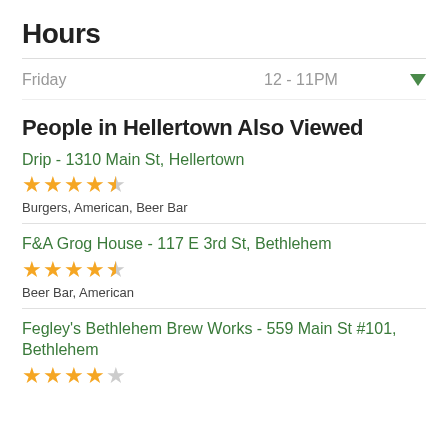Hours
Friday  12 - 11PM
People in Hellertown Also Viewed
Drip - 1310 Main St, Hellertown
★★★★½
Burgers, American, Beer Bar
F&A Grog House - 117 E 3rd St, Bethlehem
★★★★½
Beer Bar, American
Fegley's Bethlehem Brew Works - 559 Main St #101, Bethlehem
★★★★☆